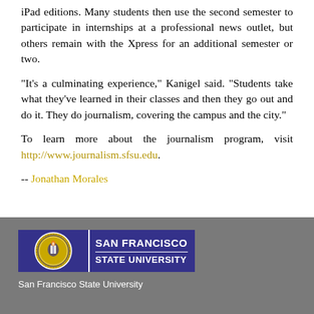iPad editions. Many students then use the second semester to participate in internships at a professional news outlet, but others remain with the Xpress for an additional semester or two.
"It's a culminating experience," Kanigel said. "Students take what they've learned in their classes and then they go out and do it. They do journalism, covering the campus and the city."
To learn more about the journalism program, visit http://www.journalism.sfsu.edu.
-- Jonathan Morales
[Figure (logo): San Francisco State University official logo with seal and text on blue background]
San Francisco State University